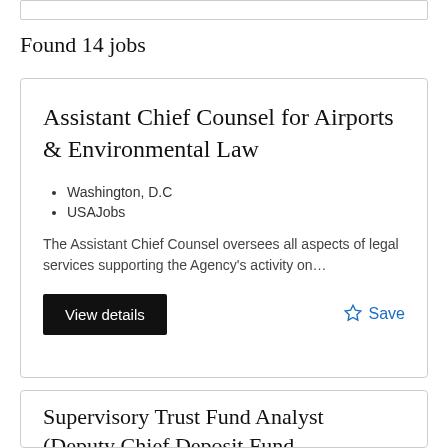Found 14 jobs
Assistant Chief Counsel for Airports & Environmental Law
Washington, D.C
USAJobs
The Assistant Chief Counsel oversees all aspects of legal services supporting the Agency's activity on…
View details
Save
Supervisory Trust Fund Analyst (Deputy Chief Deposit Fund...